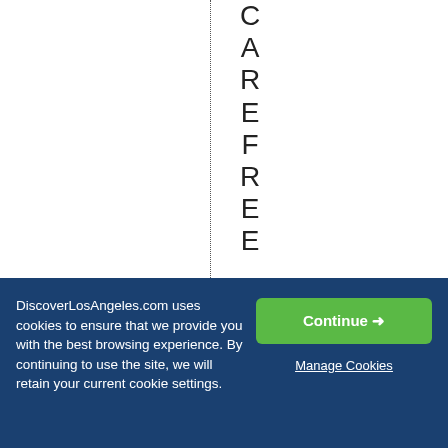CAREFREE 08/22/2021
DiscoverLosAngeles.com uses cookies to ensure that we provide you with the best browsing experience. By continuing to use the site, we will retain your current cookie settings.
Continue →
Manage Cookies